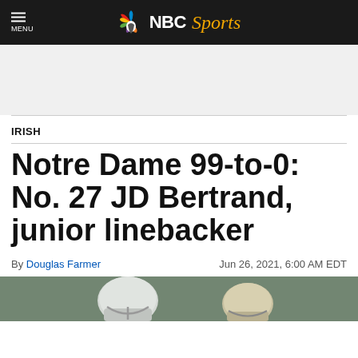NBC Sports
IRISH
Notre Dame 99-to-0: No. 27 JD Bertrand, junior linebacker
By Douglas Farmer   Jun 26, 2021, 6:00 AM EDT
[Figure (photo): Football players in helmets on field]